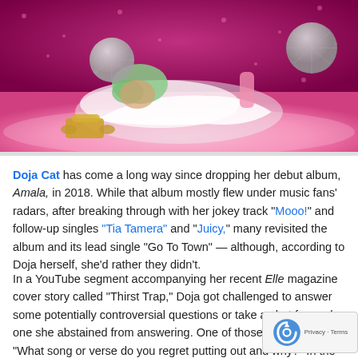[Figure (photo): Doja Cat lying on a pink fluffy surface wearing a white outfit and green wig, with disco balls and a gold telephone, pink star-patterned backdrop]
Doja Cat has come a long way since dropping her debut album, Amala, in 2018. While that album mostly flew under music fans' radars, after breaking through with her jokey track "Mooo!" and follow-up singles "Tia Tamera" and "Juicy," many revisited the album and its lead single "Go To Town" — although, according to Doja herself, she'd rather they didn't.
In a YouTube segment accompanying her recent Elle magazine cover story called "Thirst Trap," Doja got challenged to answer some potentially controversial questions or take a shot for each one she abstained from answering. One of those questions was, "What song or verse do you regret putting out and why?" In the video, Doja waffles a bit about whether or not to answer because "then I'm just giving more att... it," but ultimately decides to tell viewers, "Don't go and listen to Go To...